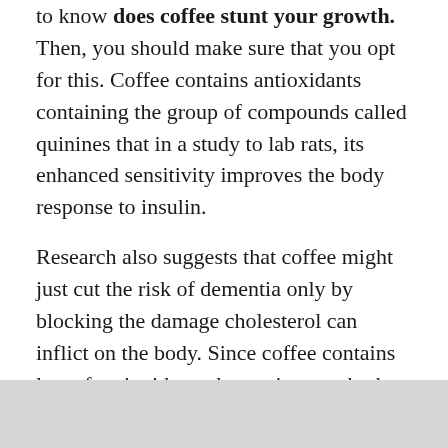to know does coffee stunt your growth. Then, you should make sure that you opt for this. Coffee contains antioxidants containing the group of compounds called quinines that in a study to lab rats, its enhanced sensitivity improves the body response to insulin.
Research also suggests that coffee might just cut the risk of dementia only by blocking the damage cholesterol can inflict on the body. Since coffee contains lots of antioxidants that assist your body repair damage to cells caused by free radicals. As a fact of the matter, you will have to ensure that you choose the best coffee, which will help you in your growth but not stop your growth at any cost.